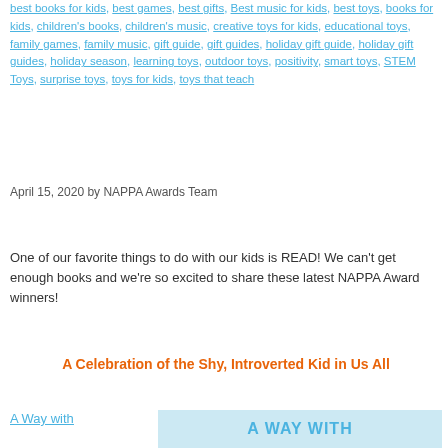best books for kids, best games, best gifts, Best music for kids, best toys, books for kids, children's books, children's music, creative toys for kids, educational toys, family games, family music, gift guide, gift guides, holiday gift guide, holiday gift guides, holiday season, learning toys, outdoor toys, positivity, smart toys, STEM Toys, surprise toys, toys for kids, toys that teach
April 15, 2020 by NAPPA Awards Team
One of our favorite things to do with our kids is READ! We can't get enough books and we're so excited to share these latest NAPPA Award winners!
A Celebration of the Shy, Introverted Kid in Us All
A Way with
[Figure (illustration): Book cover image for 'A Way with' — light blue background with text 'A WAY WITH' in blue letters]